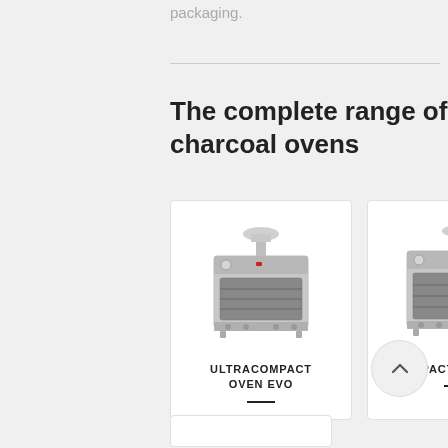packaging.
The complete range of charcoal ovens
[Figure (photo): Ultracompact Oven Evo charcoal oven product photo — stainless steel oven with chimney/ventilation hood on top]
ULTRACOMPACT OVEN EVO
[Figure (photo): Compact Oven Evo charcoal oven product photo — stainless steel oven with chimney/ventilation hood on top]
COMPACT OVEN EVO